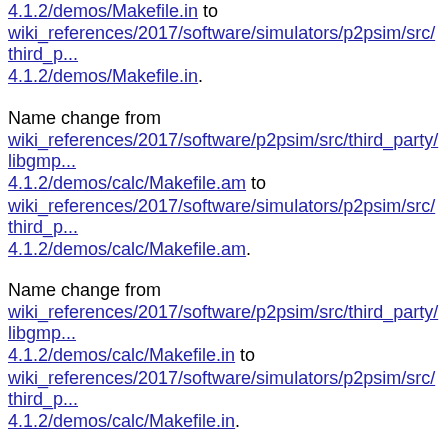4.1.2/demos/Makefile.in to wiki_references/2017/software/simulators/p2psim/src/third_party/libgmp-4.1.2/demos/Makefile.in.
Name change from wiki_references/2017/software/p2psim/src/third_party/libgmp-4.1.2/demos/calc/Makefile.am to wiki_references/2017/software/simulators/p2psim/src/third_party/libgmp-4.1.2/demos/calc/Makefile.am.
Name change from wiki_references/2017/software/p2psim/src/third_party/libgmp-4.1.2/demos/calc/Makefile.in to wiki_references/2017/software/simulators/p2psim/src/third_party/libgmp-4.1.2/demos/calc/Makefile.in.
Name change from wiki_references/2017/software/p2psim/src/third_party/libgmp-4.1.2/demos/calc/README to wiki_references/2017/software/simulators/p2psim/src/third_party/libgmp-4.1.2/demos/calc/README.
Name change from wiki_references/2017/software/p2psim/src/third_party/libgmp-4.1.2/demos/calc/calc-common.h to wiki_references/2017/software/simulators/p2psim/src/third_party/libgmp-4.1.2/demos/calc/calc-common.h.